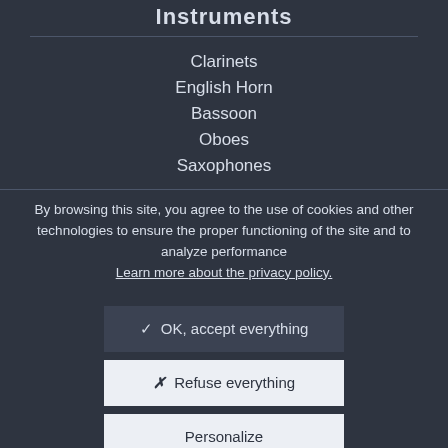Instruments
Clarinets
English Horn
Bassoon
Oboes
Saxophones
By browsing this site, you agree to the use of cookies and other technologies to ensure the proper functioning of the site and to analyze performance Learn more about the privacy policy.
✓ OK, accept everything
✗ Refuse everything
Personalize